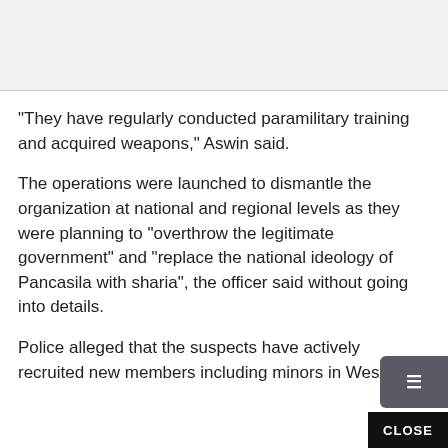[Figure (photo): Image placeholder at the top of the article page, gray background]
"They have regularly conducted paramilitary training and acquired weapons," Aswin said.
The operations were launched to dismantle the organization at national and regional levels as they were planning to “overthrow the legitimate government” and “replace the national ideology of Pancasila with sharia”, the officer said without going into details.
Police alleged that the suspects have actively recruited new members including minors in Wes